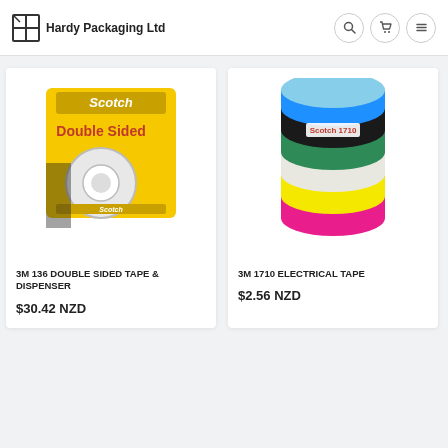Hardy Packaging Ltd
[Figure (photo): Scotch Double Sided Tape & Dispenser product image on yellow packaging]
3M 136 DOUBLE SIDED TAPE & DISPENSER
$30.42 NZD
[Figure (photo): 3M 1710 Electrical Tape rolls in multiple colors stacked together]
3M 1710 ELECTRICAL TAPE
$2.56 NZD